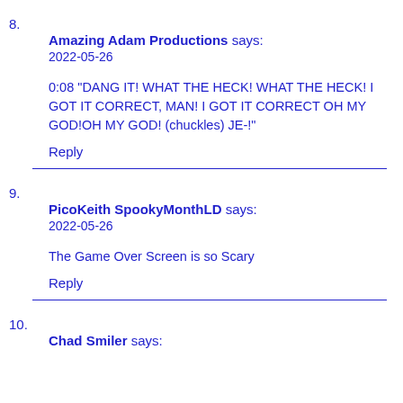8. Amazing Adam Productions says:
2022-05-26

0:08 "DANG IT! WHAT THE HECK! WHAT THE HECK! I GOT IT CORRECT, MAN! I GOT IT CORRECT OH MY GOD!OH MY GOD! (chuckles) JE-!"

Reply
9. PicoKeith SpookyMonthLD says:
2022-05-26

The Game Over Screen is so Scary

Reply
10. Chad Smiler says: